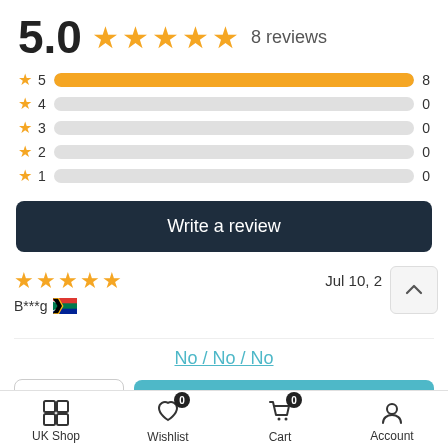5.0 ★★★★★ 8 reviews
[Figure (bar-chart): Rating distribution]
Write a review
[Figure (other): 5-star review with date Jul 10, 2... by B***g with South Africa flag, and scroll-up button]
No / No / No
- 1 +   ADD TO CART
UK Shop   Wishlist 0   Cart 0   Account